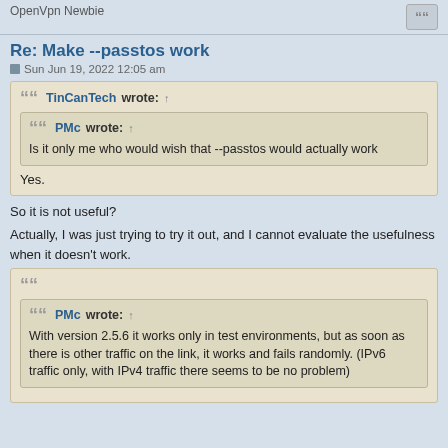OpenVpn Newbie
Re: Make --passtos work
Sun Jun 19, 2022 12:05 am
TinCanTech wrote: ↑
PMc wrote: ↑
Is it only me who would wish that --passtos would actually work
Yes.
So it is not useful?
Actually, I was just trying to try it out, and I cannot evaluate the usefulness when it doesn't work.
PMc wrote: ↑
With version 2.5.6 it works only in test environments, but as soon as there is other traffic on the link, it works and fails randomly. (IPv6 traffic only, with IPv4 traffic there seems to be no problem)